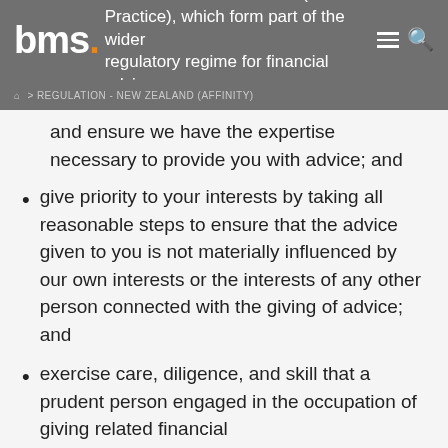Financial Advice Services (Code of Practice), which form part of the wider regulatory regime for financial advice
REGULATION - NEW ZEALAND (AFFINITY)
and ensure we have the expertise necessary to provide you with advice; and
give priority to your interests by taking all reasonable steps to ensure that the advice given to you is not materially influenced by our own interests or the interests of any other person connected with the giving of advice; and
exercise care, diligence, and skill that a prudent person engaged in the occupation of giving related financial advice...